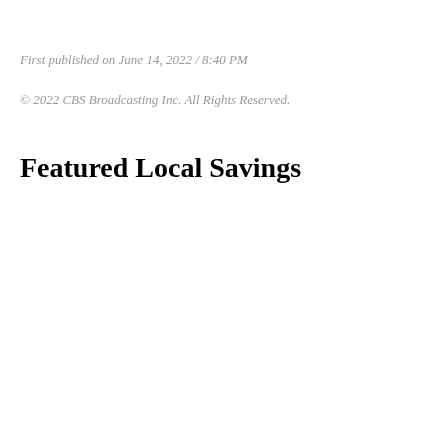First published on June 14, 2022 / 8:40 PM
© 2022 CBS Broadcasting Inc. All Rights Reserved.
Featured Local Savings